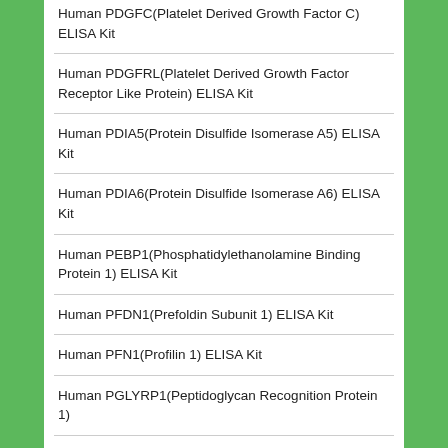Human PDGFC(Platelet Derived Growth Factor C) ELISA Kit
Human PDGFRL(Platelet Derived Growth Factor Receptor Like Protein) ELISA Kit
Human PDIA5(Protein Disulfide Isomerase A5) ELISA Kit
Human PDIA6(Protein Disulfide Isomerase A6) ELISA Kit
Human PEBP1(Phosphatidylethanolamine Binding Protein 1) ELISA Kit
Human PFDN1(Prefoldin Subunit 1) ELISA Kit
Human PFN1(Profilin 1) ELISA Kit
Human PGLYRP1(Peptidoglycan Recognition Protein 1)